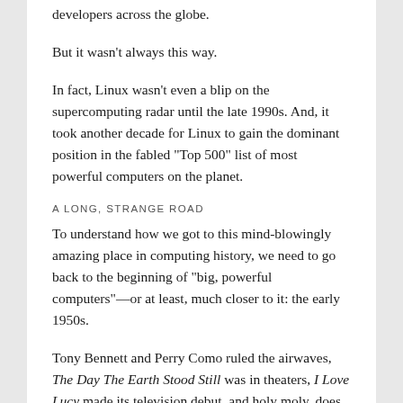developers across the globe.
But it wasn't always this way.
In fact, Linux wasn't even a blip on the supercomputing radar until the late 1990s. And, it took another decade for Linux to gain the dominant position in the fabled "Top 500" list of most powerful computers on the planet.
A LONG, STRANGE ROAD
To understand how we got to this mind-blowingly amazing place in computing history, we need to go back to the beginning of "big, powerful computers"—or at least, much closer to it: the early 1950s.
Tony Bennett and Perry Como ruled the airwaves, The Day The Earth Stood Still was in theaters, I Love Lucy made its television debut, and holy moly, does that feel like a long time ago.
In this time, which we've established was a long, long time